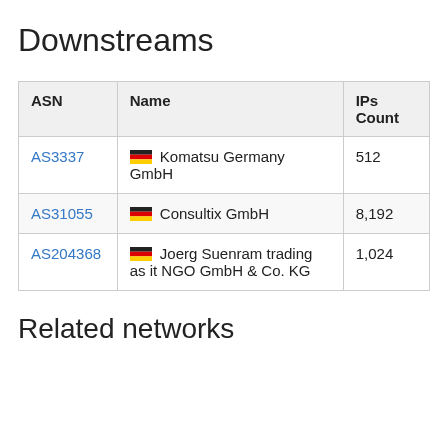Downstreams
| ASN | Name | IPs Count |
| --- | --- | --- |
| AS3337 | 🇩🇪 Komatsu Germany GmbH | 512 |
| AS31055 | 🇩🇪 Consultix GmbH | 8,192 |
| AS204368 | 🇩🇪 Joerg Suenram trading as it NGO GmbH & Co. KG | 1,024 |
Related networks